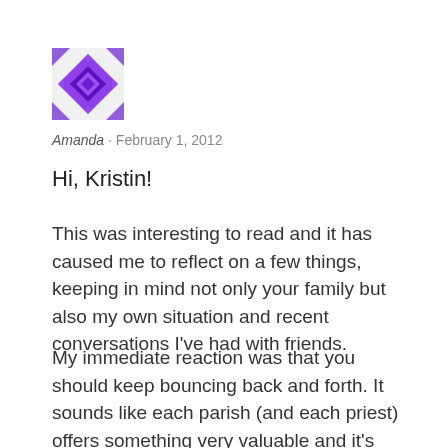[Figure (illustration): Purple geometric avatar icon with diamond/star pattern on white background with decorative border]
Amanda · February 1, 2012
Hi, Kristin!
This was interesting to read and it has caused me to reflect on a few things, keeping in mind not only your family but also my own situation and recent conversations I've had with friends.
My immediate reaction was that you should keep bouncing back and forth. It sounds like each parish (and each priest) offers something very valuable and it's not a bad thing to change up the scenery by alternating between